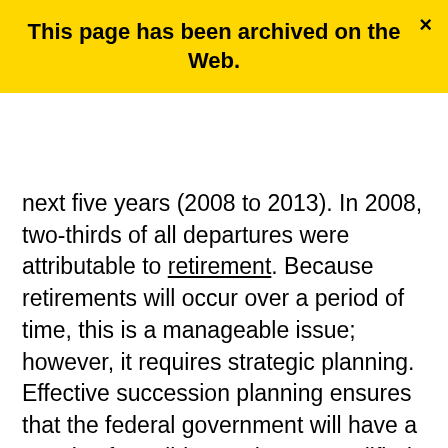This page has been archived on the Web.
next five years (2008 to 2013). In 2008, two-thirds of all departures were attributable to retirement. Because retirements will occur over a period of time, this is a manageable issue; however, it requires strategic planning. Effective succession planning ensures that the federal government will have a supply of candidates who are qualified for leadership roles and other key areas and positions when these become vacant.